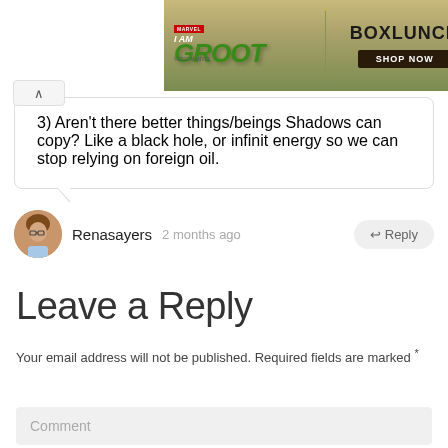[Figure (screenshot): BoxLunch advertisement banner featuring I Am Groot Marvel branding with 'Shop Now' button]
3) Aren't there better things/beings Shadows can copy? Like a black hole, or infinit energy so we can stop relying on foreign oil.
Renasayers  2 months ago  ↩ Reply
Leave a Reply
Your email address will not be published. Required fields are marked *
Comment